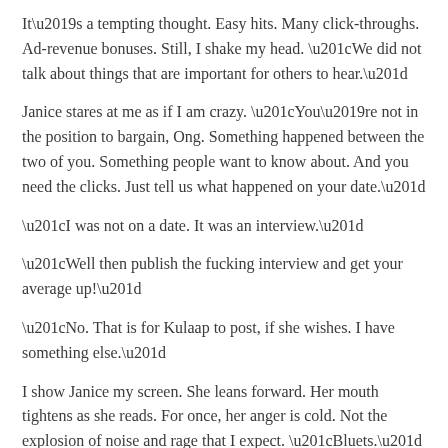It’s a tempting thought. Easy hits. Many click-throughs. Ad-revenue bonuses. Still, I shake my head. “We did not talk about things that are important for others to hear.”
Janice stares at me as if I am crazy. “You’re not in the position to bargain, Ong. Something happened between the two of you. Something people want to know about. And you need the clicks. Just tell us what happened on your date.”
“I was not on a date. It was an interview.”
“Well then publish the fucking interview and get your average up!”
“No. That is for Kulaap to post, if she wishes. I have something else.”
I show Janice my screen. She leans forward. Her mouth tightens as she reads. For once, her anger is cold. Not the explosion of noise and rage that I expect. “Bluets.” She looks at me. “You need hits and you give them flowers and Walden Pond.”
“I would like to publish this story.”